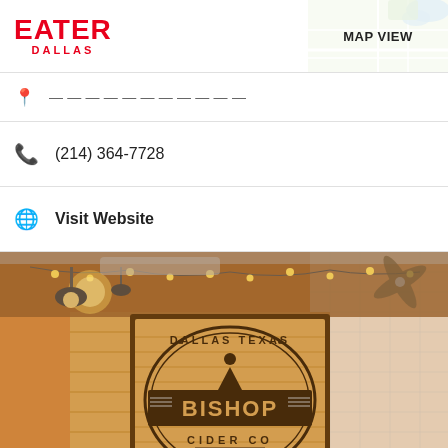EATER DALLAS — MAP VIEW
(214) 364-7728
Visit Website
[Figure (photo): Interior photo of Bishop Cider Co in Dallas Texas. A framed sign on a white brick wall reads 'DALLAS TEXAS – BISHOP CIDER CO – EST 2013'. String lights and industrial pendant lamps hang from the ceiling above.]